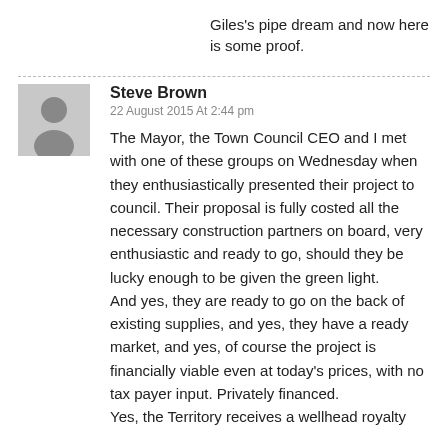Giles's pipe dream and now here is some proof.
Steve Brown
22 August 2015 At 2:44 pm
The Mayor, the Town Council CEO and I met with one of these groups on Wednesday when they enthusiastically presented their project to council. Their proposal is fully costed all the necessary construction partners on board, very enthusiastic and ready to go, should they be lucky enough to be given the green light.
And yes, they are ready to go on the back of existing supplies, and yes, they have a ready market, and yes, of course the project is financially viable even at today's prices, with no tax payer input. Privately financed.
Yes, the Territory receives a wellhead royalty